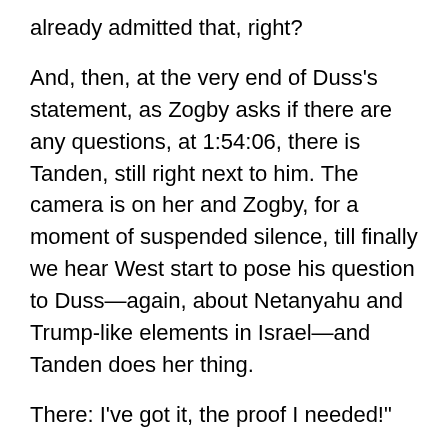already admitted that, right?
And, then, at the very end of Duss’s statement, as Zogby asks if there are any questions, at 1:54:06, there is Tanden, still right next to him. The camera is on her and Zogby, for a moment of suspended silence, till finally we hear West start to pose his question to Duss—again, about Netanyahu and Trump-like elements in Israel—and Tanden does her thing.
There: I’ve got it, the proof I needed!"
Jesus man, it's literally printed right on screen.
reply